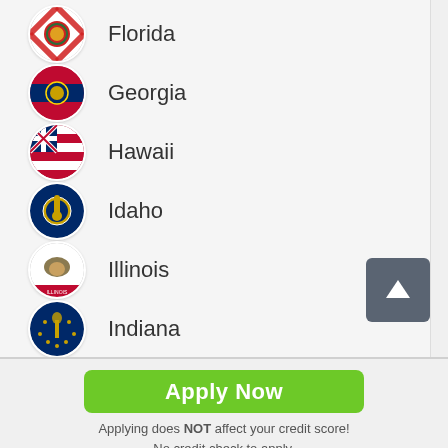Florida
Georgia
Hawaii
Idaho
Illinois
Indiana
Apply Now
Applying does NOT affect your credit score! No credit check to apply.